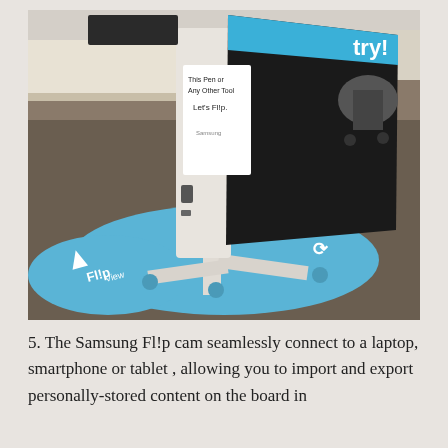[Figure (photo): A Samsung Flip interactive display board on a white wheeled stand with a blue circular base mat labeled 'Flip View'. The board is shown from the side/back in an office environment. A sign on the board reads 'This Pen or Any Other Tool Let's Flip.' A Samsung logo is visible on the side. Office chairs and desks are visible in the background.]
5. The Samsung Fl!p cam seamlessly connect to a laptop, smartphone or tablet , allowing you to import and export personally-stored content on the board in